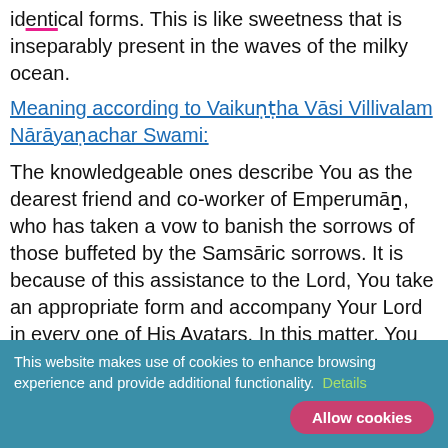identical forms. This is like sweetness that is inseparably present in the waves of the milky ocean.
Meaning according to Vaikuṇṭha Vāsi Villivalam Nārāyaṇachar Swami:
The knowledgeable ones describe You as the dearest friend and co-worker of Emperumāṉ, who has taken a vow to banish the sorrows of those buffeted by the Samsāric sorrows. It is because of this assistance to the Lord, You take an appropriate form and accompany Your Lord in every one of His Avatars. In this matter, You are like the waves of the Milky Ocean, which retain their sweetness independent of the distance they travel to reach the shore.
This website makes use of cookies to enhance browsing experience and provide additional functionality. Details Allow cookies